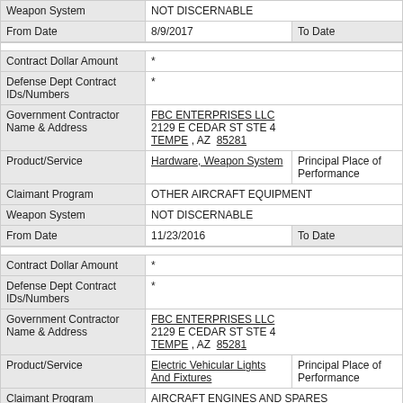| Weapon System | NOT DISCERNABLE |  |
| From Date | 8/9/2017 | To Date |
|  |  |  |
| Contract Dollar Amount | * |  |
| Defense Dept Contract IDs/Numbers | * |  |
| Government Contractor Name & Address | FBC ENTERPRISES LLC
2129 E CEDAR ST STE 4
TEMPE , AZ  85281 |  |
| Product/Service | Hardware, Weapon System | Principal Place of Performance |
| Claimant Program | OTHER AIRCRAFT EQUIPMENT |  |
| Weapon System | NOT DISCERNABLE |  |
| From Date | 11/23/2016 | To Date |
|  |  |  |
| Contract Dollar Amount | * |  |
| Defense Dept Contract IDs/Numbers | * |  |
| Government Contractor Name & Address | FBC ENTERPRISES LLC
2129 E CEDAR ST STE 4
TEMPE , AZ  85281 |  |
| Product/Service | Electric Vehicular Lights And Fixtures | Principal Place of Performance |
| Claimant Program | AIRCRAFT ENGINES AND SPARES |  |
| Weapon System | NOT DISCERNABLE |  |